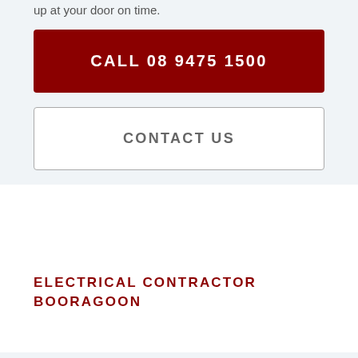up at your door on time.
CALL 08 9475 1500
CONTACT US
ELECTRICAL CONTRACTOR BOORAGOON